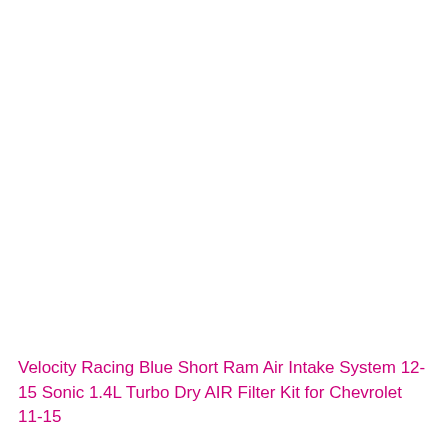Velocity Racing Blue Short Ram Air Intake System 12-15 Sonic 1.4L Turbo Dry AIR Filter Kit for Chevrolet 11-15